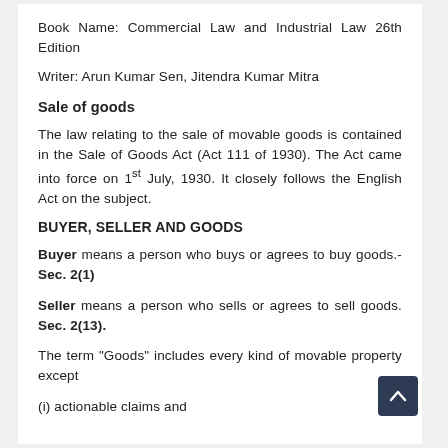Book Name: Commercial Law and Industrial Law 26th Edition
Writer: Arun Kumar Sen, Jitendra Kumar Mitra
Sale of goods
The law relating to the sale of movable goods is contained in the Sale of Goods Act (Act 111 of 1930). The Act came into force on 1st July, 1930. It closely follows the English Act on the subject.
BUYER, SELLER AND GOODS
Buyer means a person who buys or agrees to buy goods.-Sec. 2(1)
Seller means a person who sells or agrees to sell goods. Sec. 2(13).
The term "Goods" includes every kind of movable property except
(i) actionable claims and